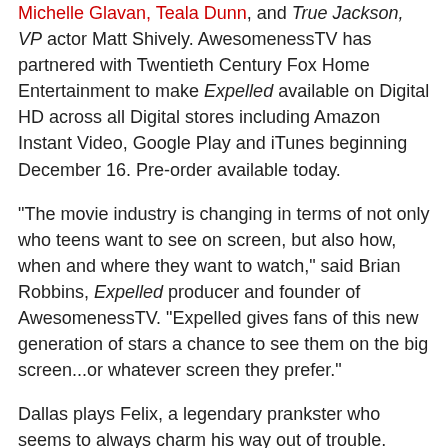Michelle Glavan, Teala Dunn, and True Jackson, VP actor Matt Shively. AwesomenessTV has partnered with Twentieth Century Fox Home Entertainment to make Expelled available on Digital HD across all Digital stores including Amazon Instant Video, Google Play and iTunes beginning December 16. Pre-order available today.
"The movie industry is changing in terms of not only who teens want to see on screen, but also how, when and where they want to watch," said Brian Robbins, Expelled producer and founder of AwesomenessTV. "Expelled gives fans of this new generation of stars a chance to see them on the big screen...or whatever screen they prefer."
Dallas plays Felix, a legendary prankster who seems to always charm his way out of trouble. However, after his third strike at school, the principal has had enough and expels him. Never defeated, Felix resorts to his infamous ways and devises a plan with his brother (Johns), best friend (Shively), new friend (Johnson) and classmate (Russett) to convince his parents he's a stellar student.
Expelled is written, produced, and directed by Alex Goyette